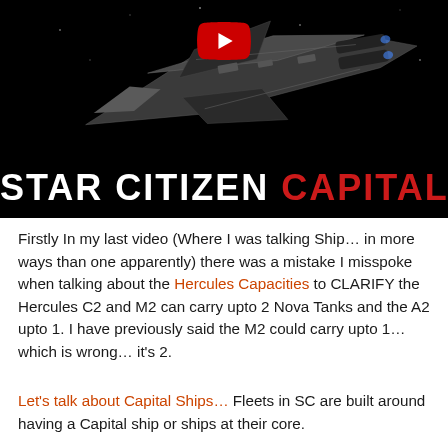[Figure (screenshot): YouTube video thumbnail for 'Star Citizen Capital Ships'. Shows a spaceship on a dark/black background with a YouTube play button icon at the top center. Bold white and red text reads 'STAR CITIZEN CAPITAL SHIPS' across the lower portion of the thumbnail.]
Firstly In my last video (Where I was talking Ship… in more ways than one apparently) there was a mistake I misspoke when talking about the Hercules Capacities to CLARIFY the Hercules C2 and M2 can carry upto 2 Nova Tanks and the A2 upto 1. I have previously said the M2 could carry upto 1… which is wrong… it's 2.
Let's talk about Capital Ships… Fleets in SC are built around having a Capital ship or ships at their core.